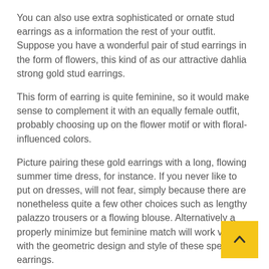You can also use extra sophisticated or ornate stud earrings as a information the rest of your outfit. Suppose you have a wonderful pair of stud earrings in the form of flowers, this kind of as our attractive dahlia strong gold stud earrings.
This form of earring is quite feminine, so it would make sense to complement it with an equally female outfit, probably choosing up on the flower motif or with floral-influenced colors.
Picture pairing these gold earrings with a long, flowing summer time dress, for instance. If you never like to put on dresses, will not fear, simply because there are nonetheless quite a few other choices such as lengthy palazzo trousers or a flowing blouse. Alternatively a properly minimize but feminine match will work very with the geometric design and style of these specific earrings.